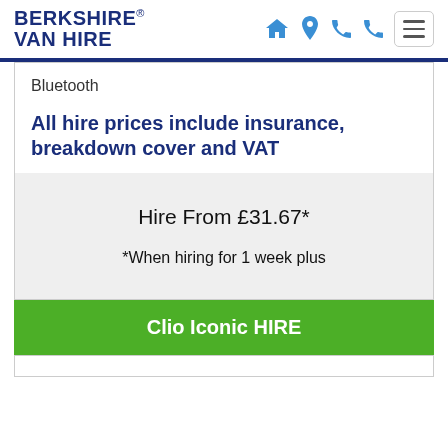BERKSHIRE® VAN HIRE
Bluetooth
All hire prices include insurance, breakdown cover and VAT
Hire From £31.67*
*When hiring for 1 week plus
Clio Iconic HIRE